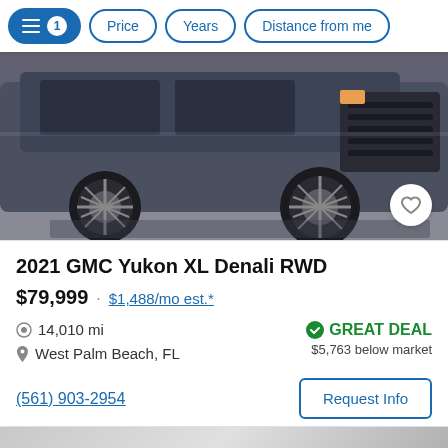Filter controls: [filters icon] 1  Price  Years  Distance from me
[Figure (photo): Photo of a 2021 GMC Yukon XL Denali RWD in dark gray/blue, viewed from the side at low angle, showing wheels and body. A heart/favorite button is visible in the lower right corner of the image.]
2021 GMC Yukon XL Denali RWD
$79,999 · $1,488/mo est.*
14,010 mi
West Palm Beach, FL
GREAT DEAL
$5,763 below market
(561) 903-2954
Request Info